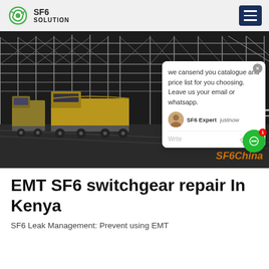SF6 SOLUTION
[Figure (photo): Industrial electrical substation at night with large yellow trucks parked in front of metal framework structures. A chat popup overlay is visible with text: 'we cansend you catalogue and price list for you choosing. Leave us your email or whatsapp.' Agent label: SF6 Expert, just now. SF6China watermark in orange bottom right.]
EMT SF6 switchgear repair In Kenya
SF6 Leak Management: Prevent using EMT